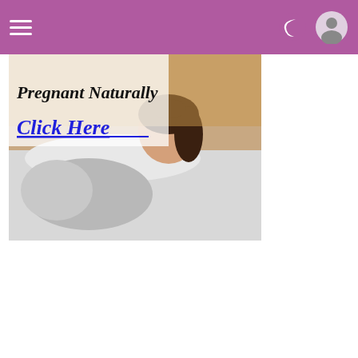Navigation header with hamburger menu and user/theme icons
[Figure (illustration): Advertisement banner showing a pregnant woman lying in bed with text 'Pregnant Naturally' and 'Click Here' in blue italic underlined text on a white/light background overlay]